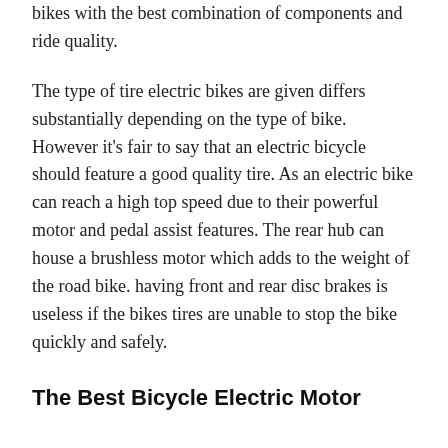bikes with the best combination of components and ride quality.
The type of tire electric bikes are given differs substantially depending on the type of bike. However it's fair to say that an electric bicycle should feature a good quality tire. As an electric bike can reach a high top speed due to their powerful motor and pedal assist features. The rear hub can house a brushless motor which adds to the weight of the road bike. having front and rear disc brakes is useless if the bikes tires are unable to stop the bike quickly and safely.
The Best Bicycle Electric Motor